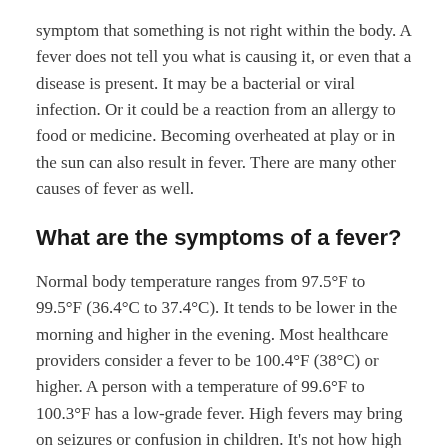symptom that something is not right within the body. A fever does not tell you what is causing it, or even that a disease is present. It may be a bacterial or viral infection. Or it could be a reaction from an allergy to food or medicine. Becoming overheated at play or in the sun can also result in fever. There are many other causes of fever as well.
What are the symptoms of a fever?
Normal body temperature ranges from 97.5°F to 99.5°F (36.4°C to 37.4°C). It tends to be lower in the morning and higher in the evening. Most healthcare providers consider a fever to be 100.4°F (38°C) or higher. A person with a temperature of 99.6°F to 100.3°F has a low-grade fever. High fevers may bring on seizures or confusion in children. It's not how high the temperature is but how fast the temperature goes up that causes a